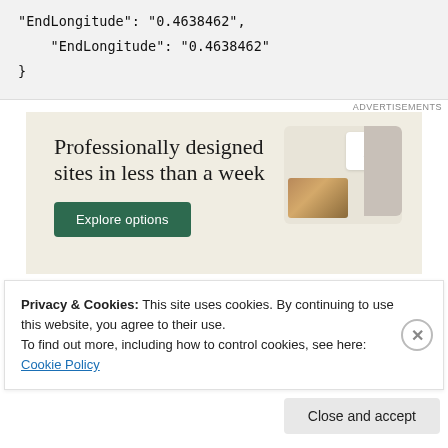"EndLongitude": "0.4638462"
}
[Figure (screenshot): Advertisement banner with beige background showing 'Professionally designed sites in less than a week' with a green 'Explore options' button and mockup website screenshots]
Privacy & Cookies: This site uses cookies. By continuing to use this website, you agree to their use.
To find out more, including how to control cookies, see here: Cookie Policy
Close and accept